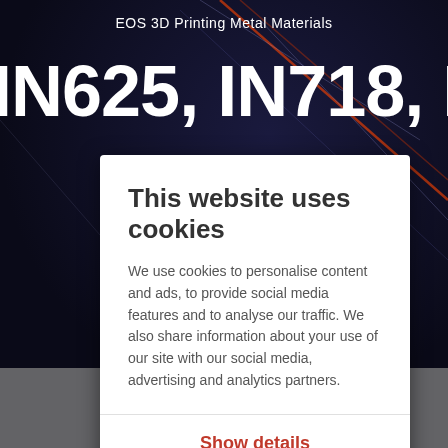EOS 3D Printing Metal Materials
IN625, IN718, IN939, HX
This website uses cookies
We use cookies to personalise content and ads, to provide social media features and to analyse our traffic. We also share information about your use of our site with our social media, advertising and analytics partners.
Show details